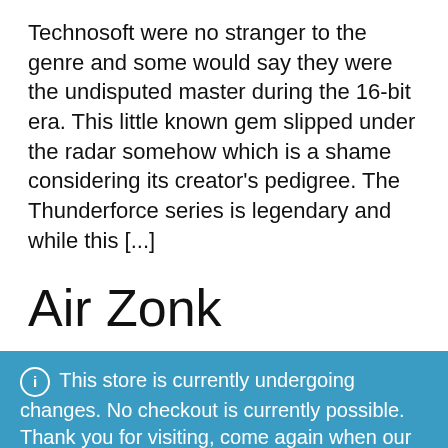Technosoft were no stranger to the genre and some would say they were the undisputed master during the 16-bit era. This little known gem slipped under the radar somehow which is a shame considering its creator's pedigree.  The Thunderforce series is legendary and while this [...]
Air Zonk
ℹ This store is currently undergoing changes. No checkout is currently possible. Thank you for visiting, come again when our site is ready! Dismiss
[Figure (other): Purple bottom navigation bar with three icons: user/account icon, search icon, and shopping cart icon with badge showing 0]